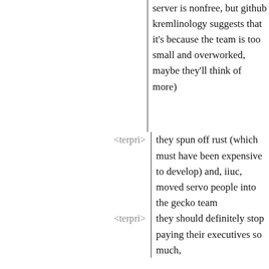server is nonfree, but github kremlinology suggests that it's because the team is too small and overworked, maybe they'll think of more)
<terpri>
they spun off rust (which must have been expensive to develop) and, iiuc, moved servo people into the gecko team
<terpri>
they should definitely stop paying their executives so much,